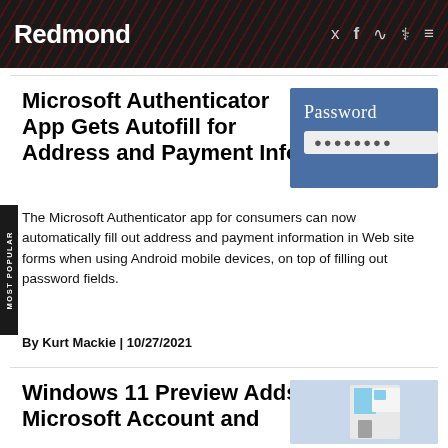Redmond
Microsoft Authenticator App Gets Autofill for Address and Payment Info
[Figure (photo): Blue background with 'Password' label and asterisks in a text field]
The Microsoft Authenticator app for consumers can now automatically fill out address and payment information in Web site forms when using Android mobile devices, on top of filling out password fields.
By Kurt Mackie | 10/27/2021
Windows 11 Preview Adds Microsoft Account and